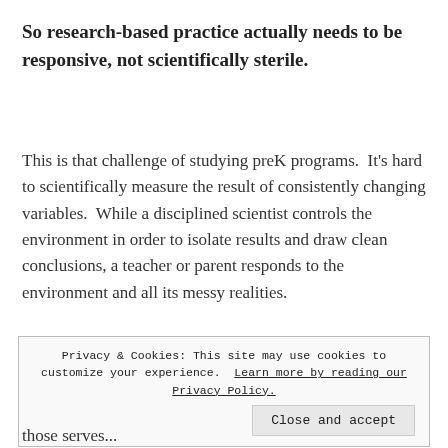So research-based practice actually needs to be responsive, not scientifically sterile.
This is that challenge of studying preK programs.  It's hard to scientifically measure the result of consistently changing variables.  While a disciplined scientist controls the environment in order to isolate results and draw clean conclusions, a teacher or parent responds to the environment and all its messy realities.
Privacy & Cookies: This site may use cookies to customize your experience. Learn more by reading our Privacy Policy.
Close and accept
those serves...